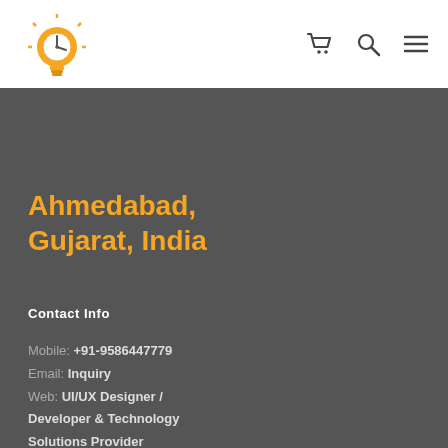[Figure (logo): Yellow lightbulb logo with clock face and rays, circular icon]
[Figure (other): Shopping cart icon, search/magnifier icon, hamburger menu icon in navigation bar]
Ahmedabad, Gujarat, India
Contact Info
Mobile: +91-9586447779
Email: Inquiry
Web: UI/UX Designer / Developer & Technology Solutions Provider Consultant